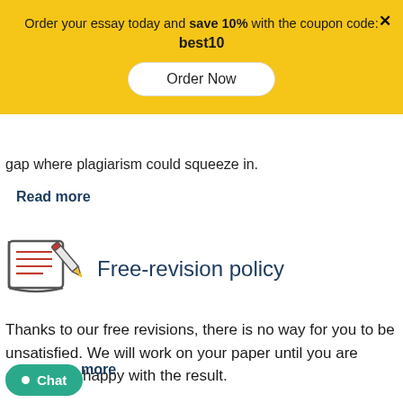Order your essay today and save 10% with the coupon code: best10
Order Now
gap where plagiarism could squeeze in.
Read more
[Figure (illustration): Icon of a notebook/document with a pencil, outlined in red and gray]
Free-revision policy
Thanks to our free revisions, there is no way for you to be unsatisfied. We will work on your paper until you are completely happy with the result.
Read more
Chat